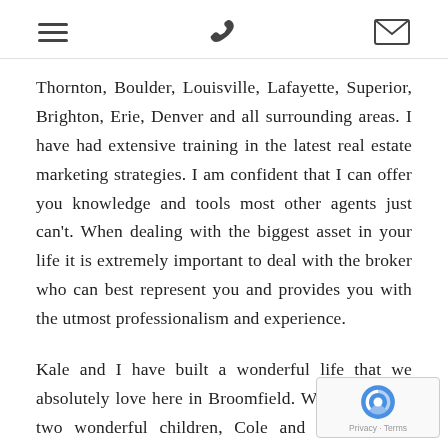[menu icon] [phone icon] [envelope icon]
Thornton, Boulder, Louisville, Lafayette, Superior, Brighton, Erie, Denver and all surrounding areas. I have had extensive training in the latest real estate marketing strategies. I am confident that I can offer you knowledge and tools most other agents just can't. When dealing with the biggest asset in your life it is extremely important to deal with the broker who can best represent you and provides you with the utmost professionalism and experience.
Kale and I have built a wonderful life that we absolutely love here in Broomfield. We have raised two wonderful children, Cole and Taylor. Cole married and brought our newest daughter De into our lives four years ago and they have a